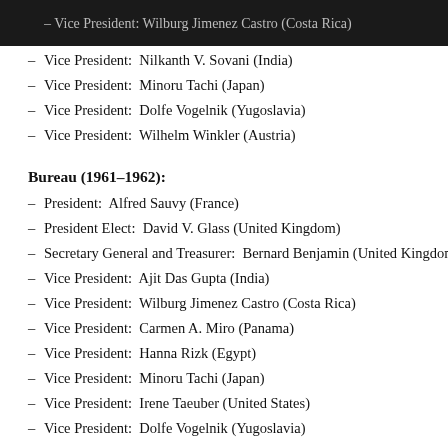– Vice President:  Wilburg Jimenez Castro (Costa Rica)
– Vice President:  Nilkanth V. Sovani (India)
– Vice President:  Minoru Tachi (Japan)
– Vice President:  Dolfe Vogelnik (Yugoslavia)
– Vice President:  Wilhelm Winkler (Austria)
Bureau (1961–1962):
– President:  Alfred Sauvy (France)
– President Elect:  David V. Glass (United Kingdom)
– Secretary General and Treasurer:  Bernard Benjamin (United Kingdom)
– Vice President:  Ajit Das Gupta (India)
– Vice President:  Wilburg Jimenez Castro (Costa Rica)
– Vice President:  Carmen A. Miro (Panama)
– Vice President:  Hanna Rizk (Egypt)
– Vice President:  Minoru Tachi (Japan)
– Vice President:  Irene Taeuber (United States)
– Vice President:  Dolfe Vogelnik (Yugoslavia)